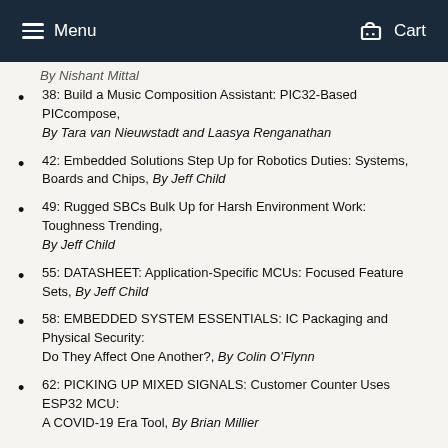Menu | Cart
By Nishant Mittal
38: Build a Music Composition Assistant: PIC32-Based PICcompose, By Tara van Nieuwstadt and Laasya Renganathan
42: Embedded Solutions Step Up for Robotics Duties: Systems, Boards and Chips, By Jeff Child
49: Rugged SBCs Bulk Up for Harsh Environment Work: Toughness Trending, By Jeff Child
55: DATASHEET: Application-Specific MCUs: Focused Feature Sets, By Jeff Child
58: EMBEDDED SYSTEM ESSENTIALS: IC Packaging and Physical Security: Do They Affect One Another?, By Colin O’Flynn
62: PICKING UP MIXED SIGNALS: Customer Counter Uses ESP32 MCU: A COVID-19 Era Tool, By Brian Millier